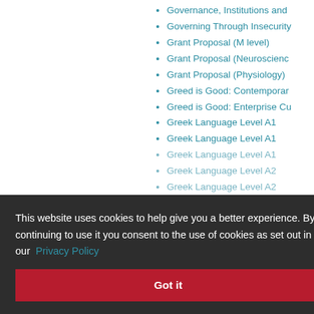Governance, Institutions and
Governing Through Insecurity
Grant Proposal (M level)
Grant Proposal (Neuroscience)
Grant Proposal (Physiology)
Greed is Good: Contemporary
Greed is Good: Enterprise Cu
Greek Language Level A1
Greek Language Level A1
Greek Language Level A1
Greek Language Level A2
Greek Language Level A2
Greek Language Level A2
Greek Language Level B1
Greek Language Level B1
Greek Language Level B1
Greek Language Level B2
Greek Language Level B2
Greek Language Level B2
This website uses cookies to help give you a better experience. By continuing to use it you consent to the use of cookies as set out in our Privacy Policy
Got it